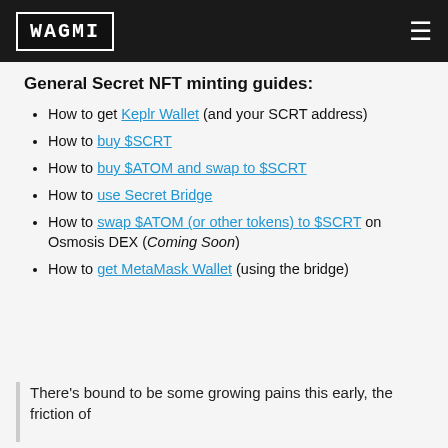WAGMI
General Secret NFT minting guides:
How to get Keplr Wallet (and your SCRT address)
How to buy $SCRT
How to buy $ATOM and swap to $SCRT
How to use Secret Bridge
How to swap $ATOM (or other tokens) to $SCRT on Osmosis DEX (Coming Soon)
How to get MetaMask Wallet (using the bridge)
There's bound to be some growing pains this early, the friction of